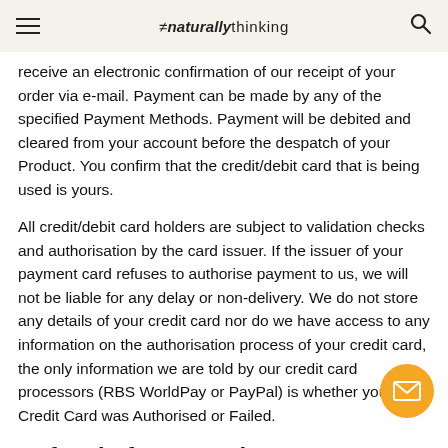≠naturallythinking
receive an electronic confirmation of our receipt of your order via e-mail. Payment can be made by any of the specified Payment Methods. Payment will be debited and cleared from your account before the despatch of your Product. You confirm that the credit/debit card that is being used is yours.
All credit/debit card holders are subject to validation checks and authorisation by the card issuer. If the issuer of your payment card refuses to authorise payment to us, we will not be liable for any delay or non-delivery. We do not store any details of your credit card nor do we have access to any information on the authorisation process of your credit card, the only information we are told by our credit card processors (RBS WorldPay or PayPal) is whether your Credit Card was Authorised or Failed.
Refusal of Transaction
We reserve the right to withdraw any Products from the Website at any time and/or remove, screen or edit any materials or content on